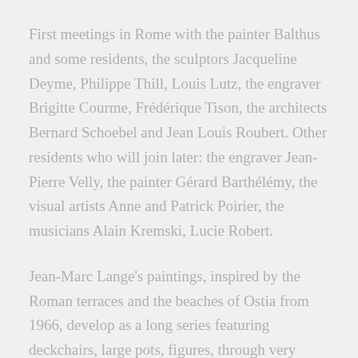First meetings in Rome with the painter Balthus and some residents, the sculptors Jacqueline Deyme, Philippe Thill, Louis Lutz, the engraver Brigitte Courme, Frédérique Tison, the architects Bernard Schoebel and Jean Louis Roubert. Other residents who will join later: the engraver Jean-Pierre Velly, the painter Gérard Barthélémy, the visual artists Anne and Patrick Poirier, the musicians Alain Kremski, Lucie Robert.
Jean-Marc Lange's paintings, inspired by the Roman terraces and the beaches of Ostia from 1966, develop as a long series featuring deckchairs, large pots, figures, through very drawn compositions, in warm colors, atmospheres of storms and high winds, those of sirocco or libeccio. He made three sculptures for the city of Grand-